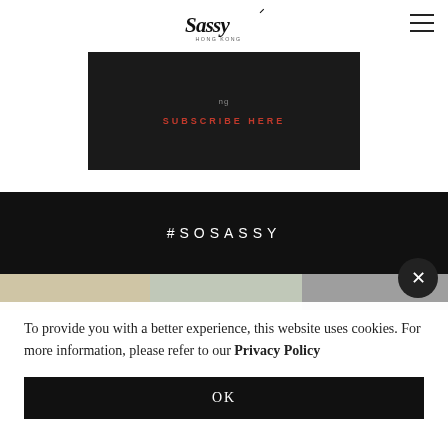Sassy Hong Kong — logo and navigation
[Figure (screenshot): Dark subscribe banner with 'SUBSCRIBE HERE' link in red text]
#SOSASSY
[Figure (photo): Photo strip showing partial lifestyle images]
To provide you with a better experience, this website uses cookies. For more information, please refer to our Privacy Policy
OK